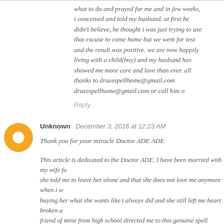what to do and prayed for me and in few weeks, i conceived and told my husband. at first he didn't believe, he thought i was just trying to use that excuse to come home but we went for test and the result was positive. we are now happily living with a child(boy) and my husband has showed me more care and love than ever. all thanks to druzespellhome@gmail.com druzespellhome@gmail.com or call him o
Reply
Unknown  December 3, 2016 at 12:23 AM
Thank you for your miracle Doctor ADE ADE
This article is dedicated to the Doctor ADE. I have been married with my wife fo she told me to leave her alone and that she does not love me anymore when i w buying her what she wants like i always did and she still left me heart broken a friend of mine from high school directed me to this genuine spell Doctor called . me to do and my wife came back begging for me back. I was stunned everythin and everything was true. Also he was there every moment until i got my happin diseases such as HIV/AID E.T.C You can contact him via email at { Adespellter answer once you contact him. Call Him on +2347057375409